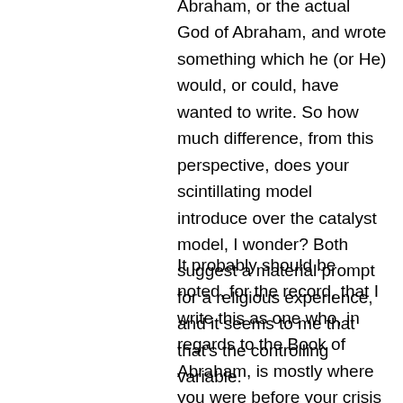Abraham, or the actual God of Abraham, and wrote something which he (or He) would, or could, have wanted to write. So how much difference, from this perspective, does your scintillating model introduce over the catalyst model, I wonder? Both suggest a material prompt for a religious experience, and it seems to me that that's the controlling variable.

It probably should be noted, for the record, that I write this as one who, in regards to the Book of Abraham, is mostly where you were before your crisis of unbelief; I find it perfectly reasonable to assume that Smith had some ideas that his work on the Bible and other thinking had left him with, and he saw the papyri as a great opportunity to make up a story that laid out those ideas. What